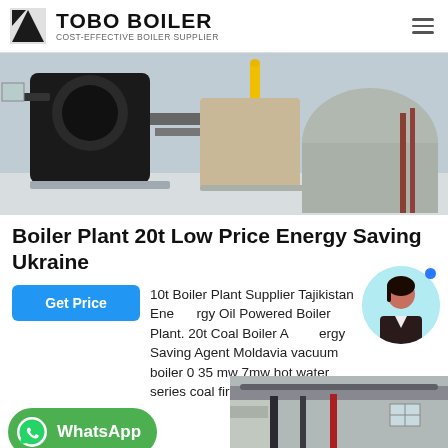TOBO BOILER — COST-EFFECTIVE BOILER SUPPLIER
[Figure (photo): Industrial boiler plant equipment with black burner unit, yellow pipe, and large tank in a facility]
Boiler Plant 20t Low Price Energy Saving Ukraine
10t Boiler Plant Supplier Tajikistan Energy Saving Oil Powered Boiler Plant. 20t Coal Boiler Energy Saving Agent Moldavia vacuum boiler 0 35 mw 7mw hot water series coal fired hot water boiler…
[Figure (photo): Interior industrial piping and ceiling of a boiler plant facility]